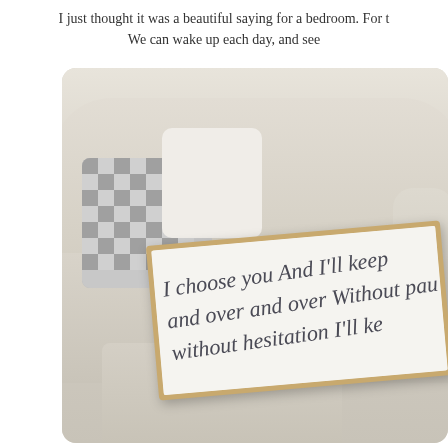I just thought it was a beautiful saying for a bedroom. For t We can wake up each day, and see
[Figure (photo): Photo of a beige sofa with decorative pillows including a gray gingham/checkered pillow and a white pillow, with a chunky knit blanket draped over the seat. A large white wooden framed sign with a natural wood border leans against the sofa, displaying cursive script text reading 'I choose you And I'll keep and over and over Without pau without hesitation I'll ke']